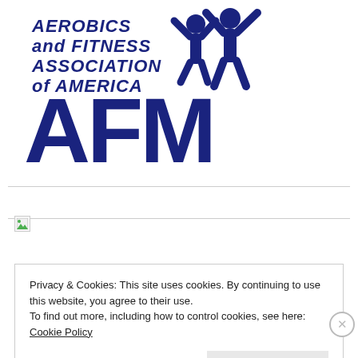[Figure (logo): AFAA logo - Aerobics and FITNESS ASSOCIATION of AMERICA with stylized human figures and large AFM text in dark blue]
[Figure (other): Broken image placeholder (small icon with green corner)]
Privacy & Cookies: This site uses cookies. By continuing to use this website, you agree to their use.
To find out more, including how to control cookies, see here: Cookie Policy
Close and accept